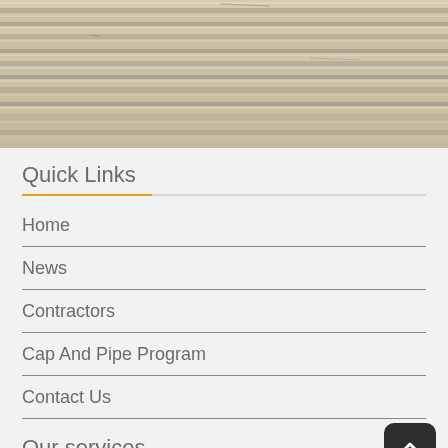[Figure (photo): Close-up photo of horizontal metal or plastic pipes/tubes, light beige/cream colored, stacked together]
Quick Links
Home
News
Contractors
Cap And Pipe Program
Contact Us
Our services